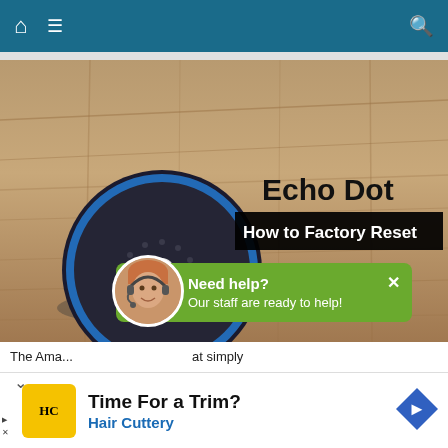Navigation bar with home icon, menu icon, and search icon
[Figure (screenshot): Hero image showing Amazon Echo Dot device on wood floor background with text overlay 'Echo Dot How to Factory Reset']
[Figure (infographic): Green help popup with avatar photo of woman with headset, text 'Need help? Our staff are ready to help!' and close X button]
The Ama... at simply makes e... e speakers he best technology to control your home in the best possible
[Figure (logo): Hair Cuttery advertisement: yellow HC logo, 'Time For a Trim?' headline, 'Hair Cuttery' in blue, blue diamond arrow icon on right]